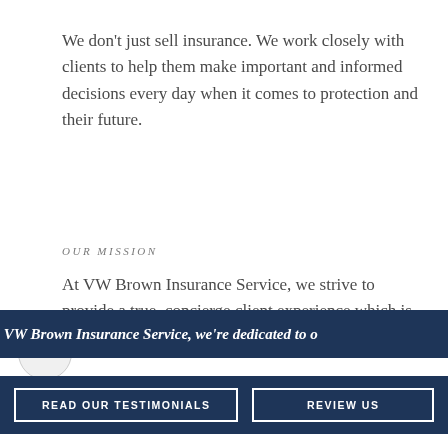We don't just sell insurance. We work closely with clients to help them make important and informed decisions every day when it comes to protection and their future.
OUR MISSION
At VW Brown Insurance Service, we strive to provide a true, concierge client experience which is unique in the
VW Brown Insurance Service, we're dedicated to o
READ OUR TESTIMONIALS
REVIEW US